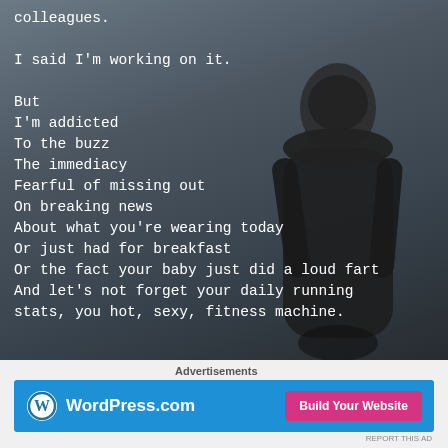colleagues.

I said I’m working on it.

But
I’m addicted
To the buzz
The immediacy
Fearful of missing out
On breaking news
About what you’re wearing today
Or just had for breakfast
Or the fact your baby just did a loud fart
And let’s not forget your daily running
stats, you hot, sexy, fitness machine.
[Figure (photo): A person in a hoodie viewed from behind, standing against a misty grey coastal background]
Advertisements
[Figure (logo): WordPress.com advertisement banner with blue background, WordPress logo on the left and a pink 'Build Your Website' button on the right]